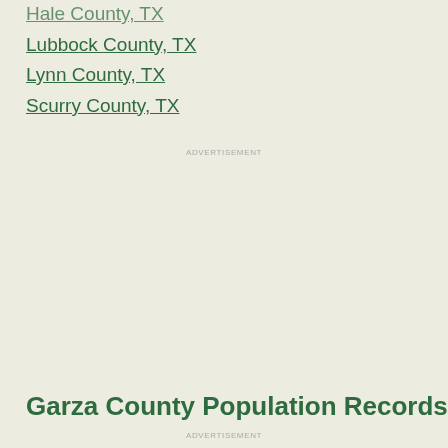Hale County, TX
Lubbock County, TX
Lynn County, TX
Scurry County, TX
ADVERTISEMENT
Garza County Population Records
ADVERTISEMENT